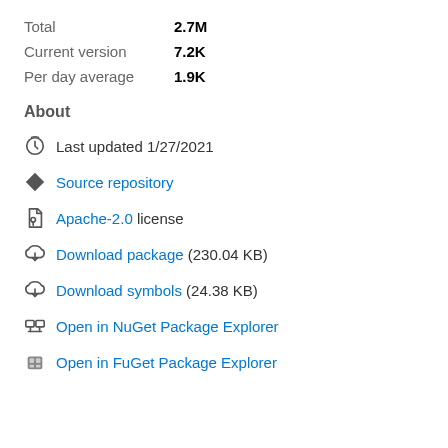Total  2.7M
Current version  7.2K
Per day average  1.9K
About
Last updated 1/27/2021
Source repository
Apache-2.0 license
Download package  (230.04 KB)
Download symbols  (24.38 KB)
Open in NuGet Package Explorer
Open in FuGet Package Explorer